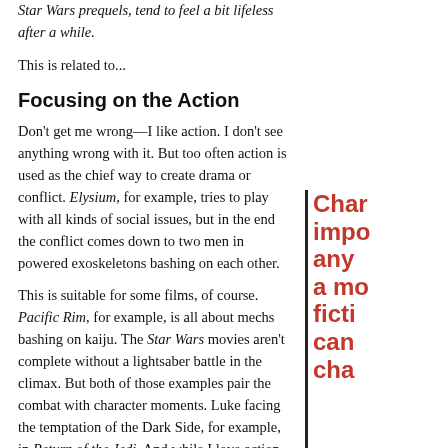Star Wars prequels, tend to feel a bit lifeless after a while.
This is related to...
Focusing on the Action
Don't get me wrong—I like action. I don't see anything wrong with it. But too often action is used as the chief way to create drama or conflict. Elysium, for example, tries to play with all kinds of social issues, but in the end the conflict comes down to two men in powered exoskeletons bashing on each other.
This is suitable for some films, of course. Pacific Rim, for example, is all about mechs bashing on kaiju. The Star Wars movies aren't complete without a lightsaber battle in the climax. But both of those examples pair the combat with character moments. Luke facing the temptation of the Dark Side, for example, in Return of the Jedi. And while I love action movies, science fiction should bring something more to the table.
Faulty Worldbuilding and the Resulting Plot Holes
As a writer of science fiction, I recognize that the moment you start creating new worlds and advanced societies and new technological innovations, up to scrutiny and questions. These can be overcome with a little thought and so